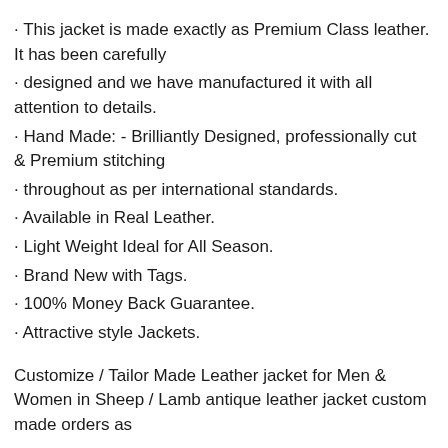· This jacket is made exactly as Premium Class leather. It has been carefully
· designed and we have manufactured it with all attention to details.
· Hand Made: - Brilliantly Designed, professionally cut & Premium stitching
· throughout as per international standards.
· Available in Real Leather.
· Light Weight Ideal for All Season.
· Brand New with Tags.
· 100% Money Back Guarantee.
· Attractive style Jackets.
Customize / Tailor Made Leather jacket for Men & Women in Sheep / Lamb antique leather jacket custom made orders as